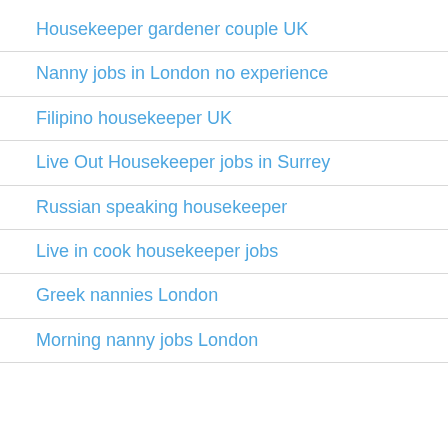Housekeeper gardener couple UK
Nanny jobs in London no experience
Filipino housekeeper UK
Live Out Housekeeper jobs in Surrey
Russian speaking housekeeper
Live in cook housekeeper jobs
Greek nannies London
Morning nanny jobs London